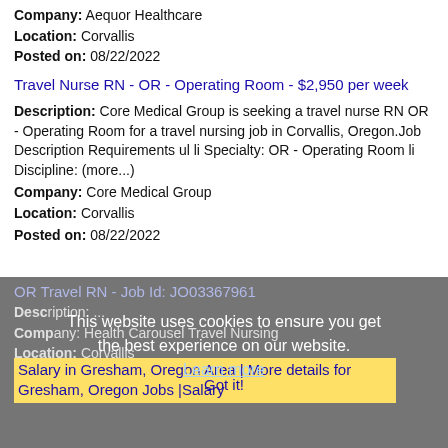Company: Aequor Healthcare
Location: Corvallis
Posted on: 08/22/2022
Travel Nurse RN - OR - Operating Room - $2,950 per week
Description: Core Medical Group is seeking a travel nurse RN OR - Operating Room for a travel nursing job in Corvallis, Oregon.Job Description Requirements ul li Specialty: OR - Operating Room li Discipline: (more...)
Company: Core Medical Group
Location: Corvallis
Posted on: 08/22/2022
OR Travel RN - Job Id: JO03367961
Description: ...
Company: Health Carousel Travel Nursing
Location: Corvallis
Posted on: 08/22/2022
This website uses cookies to ensure you get the best experience on our website.
Learn more
Got it!
Salary in Gresham, Oregon Area | More details for Gresham, Oregon Jobs |Salary
Family Medicine physician needed in Oregon
Description: Family Practice Without OR opening in Corvallis